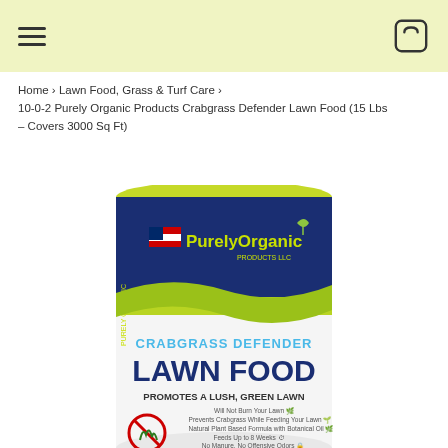≡  [cart icon]
Home › Lawn Food, Grass & Turf Care › 10-0-2 Purely Organic Products Crabgrass Defender Lawn Food (15 Lbs – Covers 3000 Sq Ft)
[Figure (photo): Product photo of Purely Organic Products Crabgrass Defender Lawn Food bag. Blue and white bag with yellow 'PurelyOrganic' branding, 'CRABGRASS DEFENDER LAWN FOOD' text, 'PROMOTES A LUSH, GREEN LAWN', bullet points: Will Not Burn Your Lawn, Prevents Crabgrass While Feeding Your Lawn, Natural Plant Based Formula with Botanical Oil, Feeds Up to 8 Weeks, No Manure No Offensive Odors.]